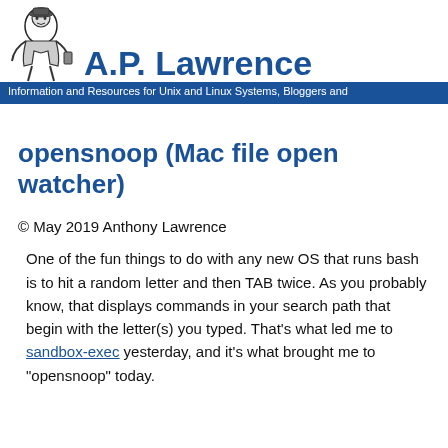A.P. Lawrence — Information and Resources for Unix and Linux Systems, Bloggers and
opensnoop (Mac file open watcher)
© May 2019 Anthony Lawrence
One of the fun things to do with any new OS that runs bash is to hit a random letter and then TAB twice. As you probably know, that displays commands in your search path that begin with the letter(s) you typed. That's what led me to sandbox-exec yesterday, and it's what brought me to "opensnoop" today.